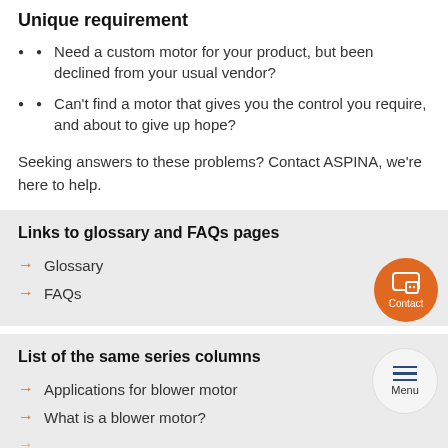Unique requirement
Need a custom motor for your product, but been declined from your usual vendor?
Can't find a motor that gives you the control you require, and about to give up hope?
Seeking answers to these problems? Contact ASPINA, we're here to help.
Links to glossary and FAQs pages
Glossary
FAQs
List of the same series columns
Applications for blower motor
What is a blower motor?